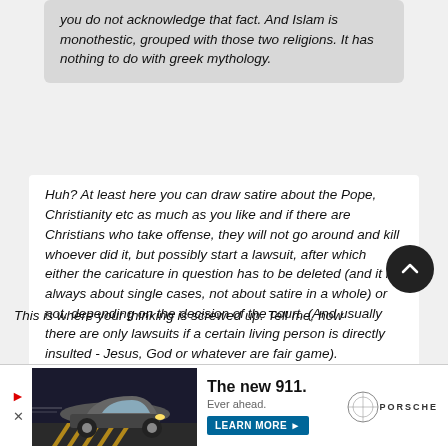you do not acknowledge that fact. And Islam is monothestic, grouped with those two religions. It has nothing to do with greek mythology.
Huh? At least here you can draw satire about the Pope, Christianity etc as much as you like and if there are Christians who take offense, they will not go around and kill whoever did it, but possibly start a lawsuit, after which either the caricature in question has to be deleted (and it is always about single cases, not about satire in a whole) or not, depending on the decision of the court. (And usually there are only lawsuits if a certain living person is directly insulted - Jesus, God or whatever are fair game).
This is where your thinking is screwed up. Tell me, how
[Figure (other): Porsche advertisement banner showing The new 911 car with tagline 'Ever ahead.' and a Learn More button]